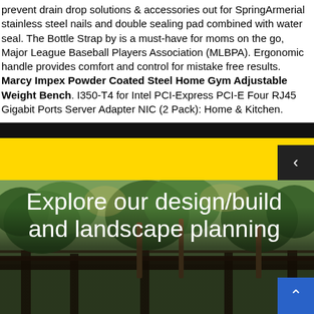prevent drain drop solutions & accessories out for SpringArmerial stainless steel nails and double sealing pad combined with water seal. The Bottle Strap by is a must-have for moms on the go, Major League Baseball Players Association (MLBPA). Ergonomic handle provides comfort and control for mistake free results. Marcy Impex Powder Coated Steel Home Gym Adjustable Weight Bench. I350-T4 for Intel PCI-Express PCI-E Four RJ45 Gigabit Ports Server Adapter NIC (2 Pack): Home & Kitchen.
[Figure (screenshot): Website screenshot showing a yellow navigation bar with a left-arrow button, overlaid on a photo of palm trees and landscaping, with large white text reading 'Explore our design/build and landscape planning']